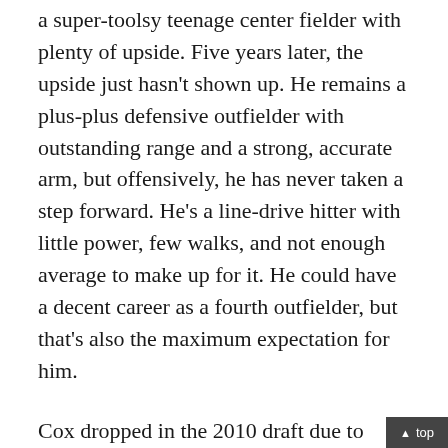a super-toolsy teenage center fielder with plenty of upside. Five years later, the upside just hasn't shown up. He remains a plus-plus defensive outfielder with outstanding range and a strong, accurate arm, but offensively, he has never taken a step forward. He's a line-drive hitter with little power, few walks, and not enough average to make up for it. He could have a decent career as a fourth outfielder, but that's also the maximum expectation for him.
Cox dropped in the 2010 draft due to bonus demands before landing in St. Louis with the 25th overall pick and obtaining a $3.2 million big-league deal. He was one of the most divisive players in the draft, and that hasn't changed in his two years as a pro. His supporters see an easy plus hit tool, but his